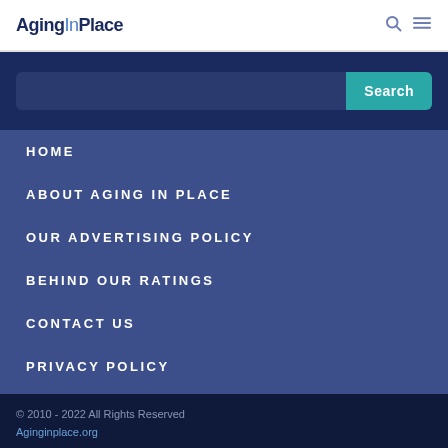AgingInPlace
Search
HOME
ABOUT AGING IN PLACE
OUR ADVERTISING POLICY
BEHIND OUR RATINGS
CONTACT US
PRIVACY POLICY
© 2010 - 2022 All Rights Reserved
Aginginplace.org